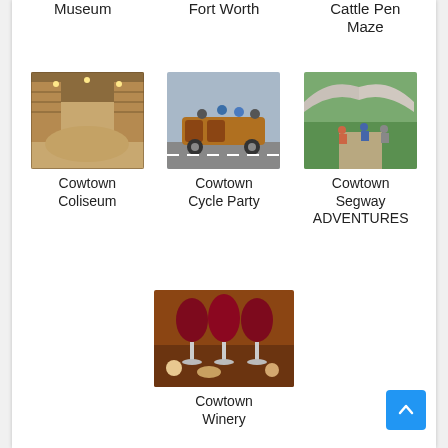Museum
Fort Worth
Cattle Pen Maze
[Figure (photo): Indoor arena/coliseum with dirt floor and stadium seating]
Cowtown Coliseum
[Figure (photo): People riding a cycle party vehicle with barrels on a street]
Cowtown Cycle Party
[Figure (photo): Group of people on Segways under an arch bridge]
Cowtown Segway ADVENTURES
[Figure (photo): Three glasses of red wine on a wooden surface with snacks]
Cowtown Winery